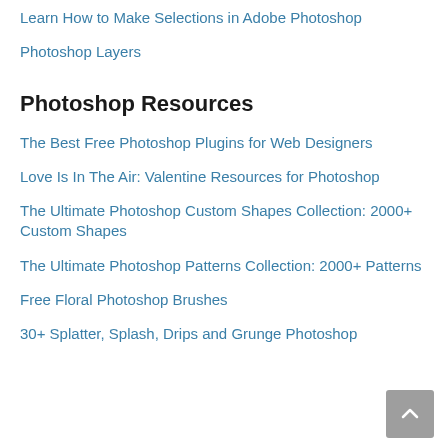Learn How to Make Selections in Adobe Photoshop
Photoshop Layers
Photoshop Resources
The Best Free Photoshop Plugins for Web Designers
Love Is In The Air: Valentine Resources for Photoshop
The Ultimate Photoshop Custom Shapes Collection: 2000+ Custom Shapes
The Ultimate Photoshop Patterns Collection: 2000+ Patterns
Free Floral Photoshop Brushes
30+ Splatter, Splash, Drips and Grunge Photoshop